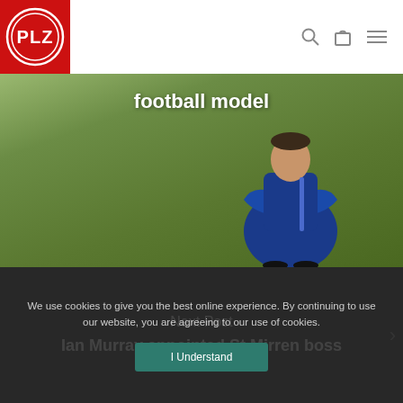[Figure (logo): PLZ logo — white circle with PLZ text on red background square]
[Figure (photo): Hero image showing a person in blue jacket standing with arms crossed on a green football pitch. Text overlay reads 'football model']
Next Post
Ian Murray appointed St Mirren boss
We use cookies to give you the best online experience. By continuing to use our website, you are agreeing to our use of cookies.
I Understand